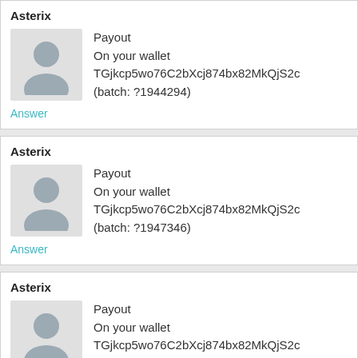Asterix
Payout
On your wallet TGjkcp5wo76C2bXcj874bx82MkQjS2c (batch: ?1944294)
Answer
Asterix
Payout
On your wallet TGjkcp5wo76C2bXcj874bx82MkQjS2c (batch: ?1947346)
Answer
Asterix
Payout
On your wallet TGjkcp5wo76C2bXcj874bx82MkQjS2c (batch: ?1950864)
Answer